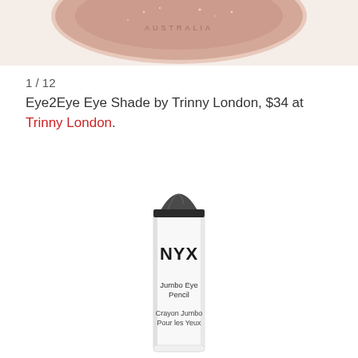[Figure (photo): Partial view of a Trinny London eye shade product with rose gold glitter palette and 'AUSTRALIA' text visible at top]
1 / 12
Eye2Eye Eye Shade by Trinny London, $34 at Trinny London.
[Figure (photo): NYX Jumbo Eye Pencil — a large white pencil/crayon with dark grey tip, labeled 'NYX', 'Jumbo Eye Pencil', and 'Crayon Jumbo Pour les Yeux']